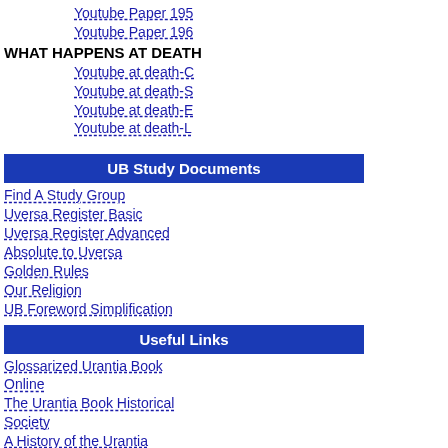Youtube Paper 195
Youtube Paper 196
WHAT HAPPENS AT DEATH
Youtube at death-C
Youtube at death-S
Youtube at death-E
Youtube at death-L
UB Study Documents
Find A Study Group
Uversa Register Basic
Uversa Register Advanced
Absolute to Uversa
Golden Rules
Our Religion
UB Foreword Simplification
Useful Links
Glossarized Urantia Book Online
The Urantia Book Historical Society
A History of the Urantia Papers
The Paramony Cross Reference Resource
Urantia Paper to Bible
Bible to Urantia Paper
Bible Gateway online bible search
Topical Index for The Urantia